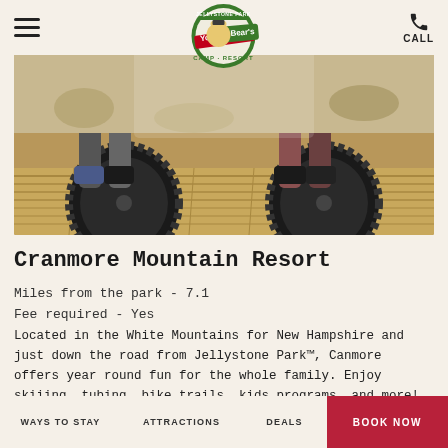Jellystone Park Yogi Bear's Camp Resort - navigation header with hamburger menu, logo, and call button
[Figure (photo): Two mountain bikes with knobby tires on a wooden deck/trail feature, with Jellystone Park Yogi Bear's Camp Resort logo overlay at top center. Riders' legs and feet visible. Outdoor dirt trail setting.]
Cranmore Mountain Resort
Miles from the park - 7.1
Fee required - Yes
Located in the White Mountains for New Hampshire and just down the road from Jellystone Park™, Canmore offers year round fun for the whole family. Enjoy skiiing, tubing, bike trails, kids programs, and more! Photo by Cranmore Mountain Resort is licensed under CC BY 2.0
WAYS TO STAY   ATTRACTIONS   DEALS   BOOK NOW